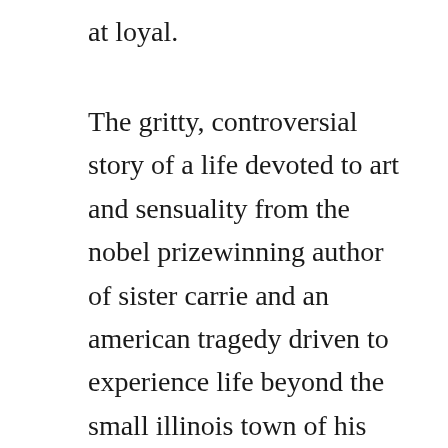at loyal.
The gritty, controversial story of a life devoted to art and sensuality from the nobel prizewinning author of sister carrie and an american tragedy driven to experience life beyond the small illinois town of his youth, eugene witla makes his way to chicago, where he is immediately drawn to the buzz of the city and the sexual freedom of bohemian life. I caught him saying keys of solomon, which is a real grimiore book of magick but didnt quite catch the rest. Jul 25, 2017 strange practice